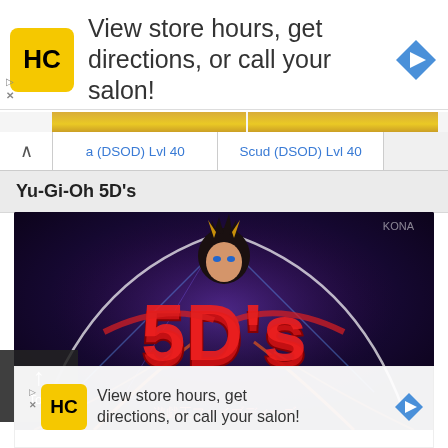[Figure (screenshot): Advertisement banner: HC logo (yellow square with HC text), text 'View store hours, get directions, or call your salon!', blue diamond arrow icon on right]
[Figure (screenshot): Navigation tab bar with chevron up icon, two tabs: 'a (DSOD) Lvl 40' and 'Scud (DSOD) Lvl 40' in blue text with gold image strip above each]
Yu-Gi-Oh 5D's
[Figure (illustration): Yu-Gi-Oh 5D's promotional image: anime character with dark hair and gold horns above large red '5D's' logo with Japanese text at bottom, dark purple/blue dramatic background with light arcs]
[Figure (screenshot): Back to top button: dark semi-transparent box with up arrow and 'Top' text]
[Figure (screenshot): Advertisement banner (bottom overlay): HC logo (yellow square), text 'View store hours, get directions, or call your salon!', blue diamond arrow icon]